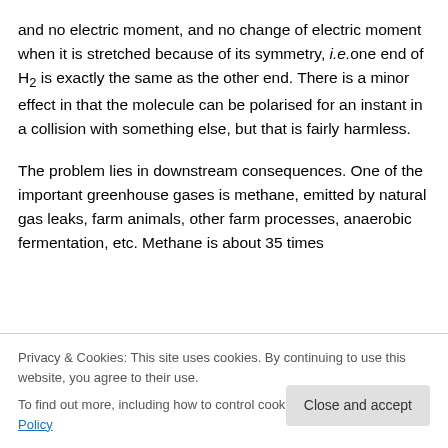and no electric moment, and no change of electric moment when it is stretched because of its symmetry, i.e.one end of H2 is exactly the same as the other end. There is a minor effect in that the molecule can be polarised for an instant in a collision with something else, but that is fairly harmless.
The problem lies in downstream consequences. One of the important greenhouse gases is methane, emitted by natural gas leaks, farm animals, other farm processes, anaerobic fermentation, etc. Methane is about 35 times
Privacy & Cookies: This site uses cookies. By continuing to use this website, you agree to their use.
To find out more, including how to control cookies, see here: Cookie Policy